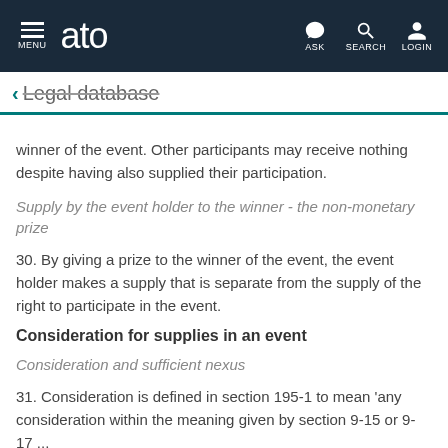MENU | ato | ASK | SEARCH | LOGIN
← Legal database
winner of the event. Other participants may receive nothing despite having also supplied their participation.
Supply by the event holder to the winner - the non-monetary prize
30. By giving a prize to the winner of the event, the event holder makes a supply that is separate from the supply of the right to participate in the event.
Consideration for supplies in an event
Consideration and sufficient nexus
31. Consideration is defined in section 195-1 to mean 'any consideration within the meaning given by section 9-15 or 9-17 ...